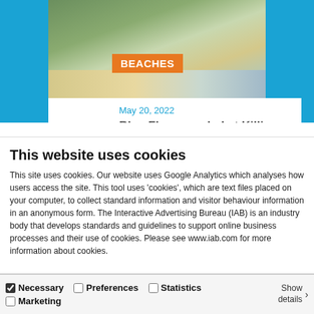[Figure (photo): Aerial/elevated view of a beach with green cliffs, sandy shore, and sea. An orange badge reading BEACHES overlays the image.]
May 20, 2022
Blue Flag awarded at Killiney and Seapoint Beach
KILLINEY
This website uses cookies
This site uses cookies. Our website uses Google Analytics which analyses how users access the site. This tool uses 'cookies', which are text files placed on your computer, to collect standard information and visitor behaviour information in an anonymous form. The Interactive Advertising Bureau (IAB) is an industry body that develops standards and guidelines to support online business processes and their use of cookies. Please see www.iab.com for more information about cookies.
Allow all cookies
Allow selection
Use necessary cookies only
Necessary   Preferences   Statistics   Marketing   Show details